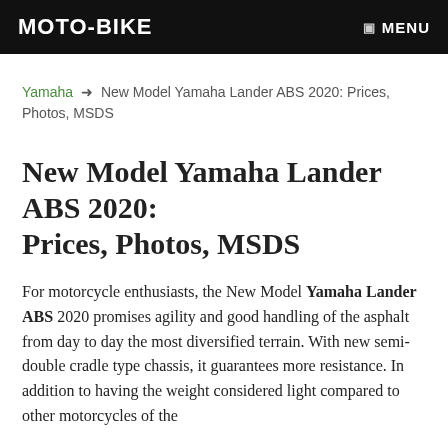MOTO-BIKE   MENU
Yamaha → New Model Yamaha Lander ABS 2020: Prices, Photos, MSDS
New Model Yamaha Lander ABS 2020: Prices, Photos, MSDS
For motorcycle enthusiasts, the New Model Yamaha Lander ABS 2020 promises agility and good handling of the asphalt from day to day the most diversified terrain. With new semi-double cradle type chassis, it guarantees more resistance. In addition to having the weight considered light compared to other motorcycles of the